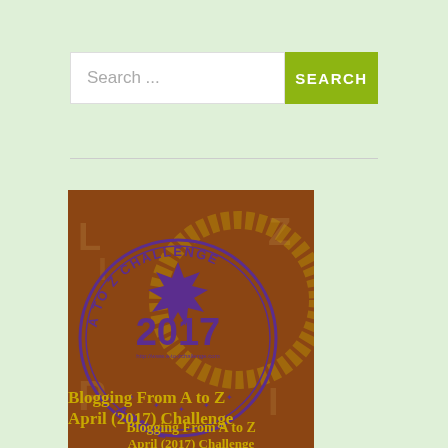Search ...
[Figure (illustration): A to Z Challenge 2017 blog badge — brown background with purple stamp circle reading 'A TO Z CHALLENGE 2017 APRIL', with star decorations and URL http://www.a-to-zchallenge.com]
Blogging From A to Z April (2017) Challenge